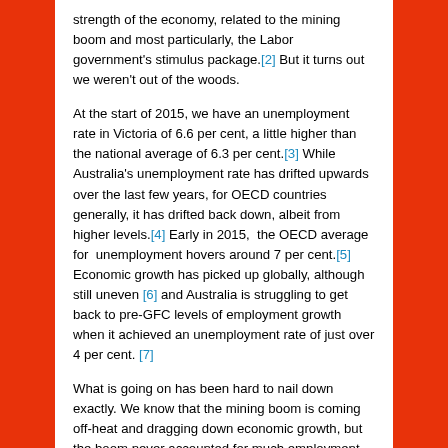strength of the economy, related to the mining boom and most particularly, the Labor government's stimulus package.[2] But it turns out we weren't out of the woods.
At the start of 2015, we have an unemployment rate in Victoria of 6.6 per cent, a little higher than the national average of 6.3 per cent.[3] While Australia's unemployment rate has drifted upwards over the last few years, for OECD countries generally, it has drifted back down, albeit from higher levels.[4] Early in 2015, the OECD average for unemployment hovers around 7 per cent.[5] Economic growth has picked up globally, although still uneven [6] and Australia is struggling to get back to pre-GFC levels of employment growth when it achieved an unemployment rate of just over 4 per cent. [7]
What is going on has been hard to nail down exactly. We know that the mining boom is coming off-heat and dragging down economic growth, but the boom never accounted for much employment, and none in Victoria, although it helped drive...